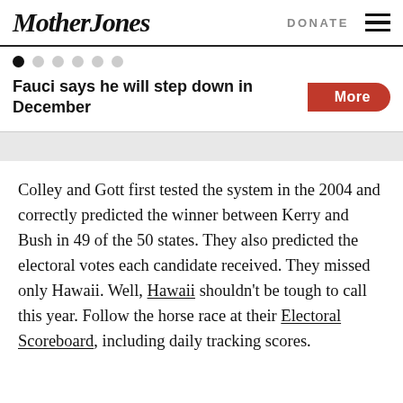Mother Jones | DONATE
Fauci says he will step down in December
Colley and Gott first tested the system in the 2004 and correctly predicted the winner between Kerry and Bush in 49 of the 50 states. They also predicted the electoral votes each candidate received. They missed only Hawaii. Well, Hawaii shouldn't be tough to call this year. Follow the horse race at their Electoral Scoreboard, including daily tracking scores.